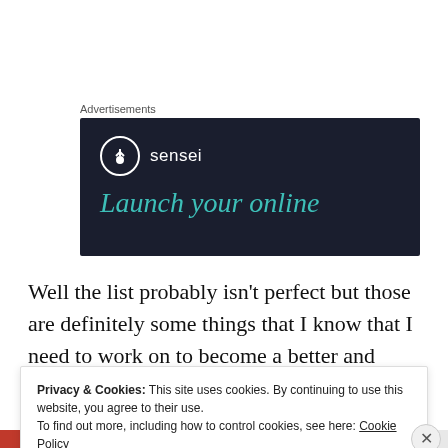Advertisements
[Figure (other): Sensei advertisement banner with dark navy background, Sensei logo (tree icon in white circle), text 'Launch your online' in teal italic serif font]
Well the list probably isn't perfect but those are definitely some things that I know that I need to work on to become a better and more successful writer.  What would you guys add to this list or better yet, what would
Privacy & Cookies: This site uses cookies. By continuing to use this website, you agree to their use.
To find out more, including how to control cookies, see here: Cookie Policy
Close and accept